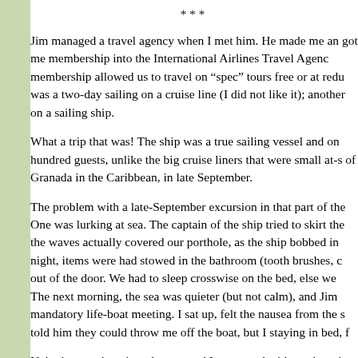***
Jim managed a travel agency when I met him. He made me an got me membership into the International Airlines Travel Agency membership allowed us to travel on “spec” tours free or at redu was a two-day sailing on a cruise line (I did not like it); another on a sailing ship.
What a trip that was! The ship was a true sailing vessel and on hundred guests, unlike the big cruise liners that were small at-s of Granada in the Caribbean, in late September.
The problem with a late-September excursion in that part of the One was lurking at sea. The captain of the ship tried to skirt the the waves actually covered our porthole, as the ship bobbed in night, items were had stowed in the bathroom (tooth brushes, c out of the door. We had to sleep crosswise on the bed, else we The next morning, the sea was quieter (but not calm), and Jim mandatory life-boat meeting. I sat up, felt the nausea from the s told him they could throw me off the boat, but I staying in bed, f
Nobody tossed me into the sea, and I recovered without throwi